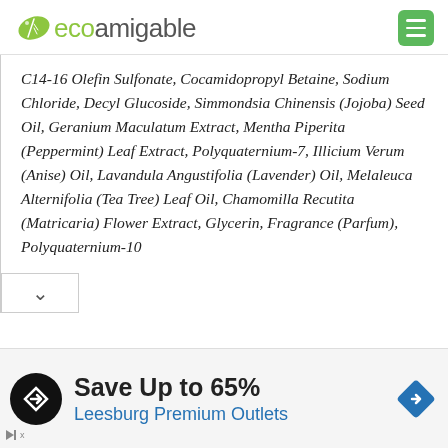ecoamigable
C14-16 Olefin Sulfonate, Cocamidopropyl Betaine, Sodium Chloride, Decyl Glucoside, Simmondsia Chinensis (Jojoba) Seed Oil, Geranium Maculatum Extract, Mentha Piperita (Peppermint) Leaf Extract, Polyquaternium-7, Illicium Verum (Anise) Oil, Lavandula Angustifolia (Lavender) Oil, Melaleuca Alternifolia (Tea Tree) Leaf Oil, Chamomilla Recutita (Matricaria) Flower Extract, Glycerin, Fragrance (Parfum), Polyquaternium-10
[Figure (infographic): Advertisement banner: Save Up to 65% Leesburg Premium Outlets]
Save Up to 65%
Leesburg Premium Outlets